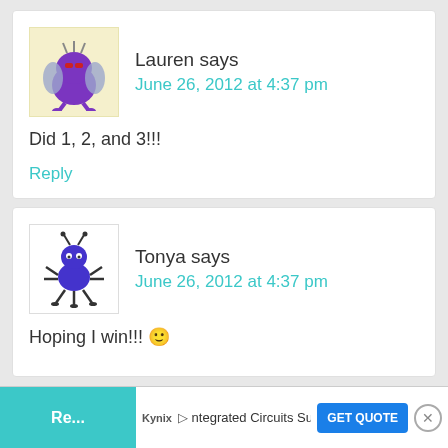Lauren says
June 26, 2012 at 4:37 pm
Did 1, 2, and 3!!!
Reply
Tonya says
June 26, 2012 at 4:37 pm
Hoping I win!!! 🙂
Reply
[Figure (screenshot): Advertisement bar at bottom: Kynix Integrated Circuits Supplier with GET QUOTE button]